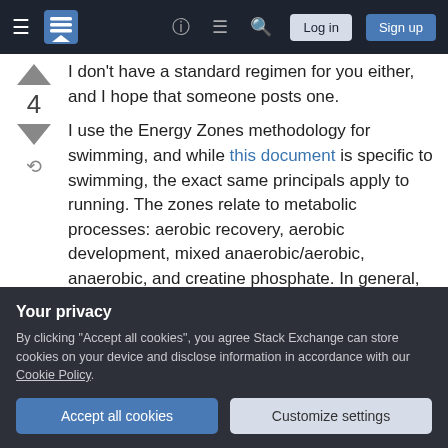Stack Exchange navigation bar with hamburger menu, logo, help, chat, search icons, Log in and Sign up buttons
I don't have a standard regimen for you either, and I hope that someone posts one.
I use the Energy Zones methodology for swimming, and while this document is specific to swimming, the exact same principals apply to running. The zones relate to metabolic processes: aerobic recovery, aerobic development, mixed anaerobic/aerobic, anaerobic, and creatine phosphate. In general, the optimal amount of time you should spend on each higher zone decreases and recovery time increases. A seasonal progression for a cross country runner
Your privacy
By clicking "Accept all cookies", you agree Stack Exchange can store cookies on your device and disclose information in accordance with our Cookie Policy.
Accept all cookies
Customize settings